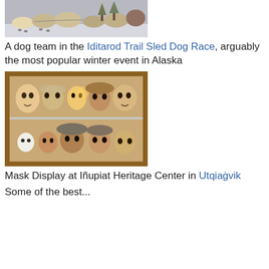[Figure (photo): A dog team running in the Iditarod Trail Sled Dog Race, dogs visible with harnesses in a snowy setting]
A dog team in the Iditarod Trail Sled Dog Race, arguably the most popular winter event in Alaska
[Figure (photo): Mask Display at Iñupiat Heritage Center in Utqiaġvik — glass display case with multiple indigenous face masks on two shelves]
Mask Display at Iñupiat Heritage Center in Utqiaġvik
Some of the best...